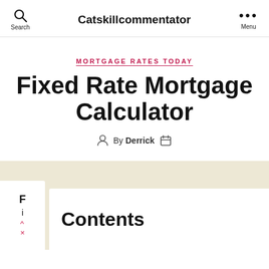Search  Catskillcommentator  Menu
MORTGAGE RATES TODAY
Fixed Rate Mortgage Calculator
By Derrick
Contents